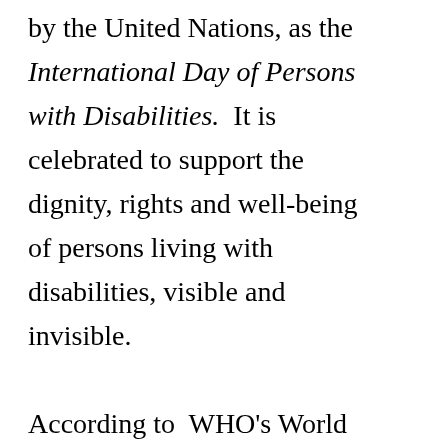by the United Nations, as the International Day of Persons with Disabilities.  It is celebrated to support the dignity, rights and well-being of persons living with disabilities, visible and invisible.

According to  WHO's World Report on Disability more than 1 billion people are living with a disability, and approximately  450 million are living with a mental or neurological condition.  It is estimated that about two-thirds of these will not seek